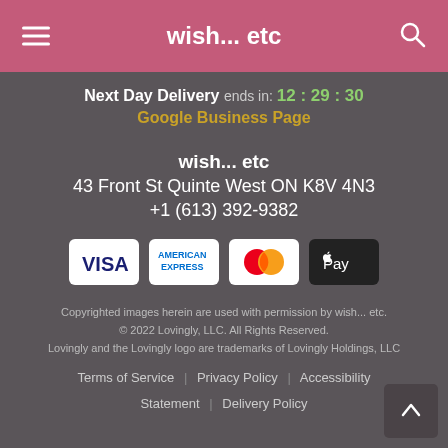wish... etc
Next Day Delivery ends in: 12 : 29 : 30
Google Business Page
wish... etc
43 Front St Quinte West ON K8V 4N3
+1 (613) 392-9382
[Figure (other): Payment method icons: VISA, American Express, Mastercard, Apple Pay]
Copyrighted images herein are used with permission by wish... etc.
© 2022 Lovingly, LLC. All Rights Reserved.
Lovingly and the Lovingly logo are trademarks of Lovingly Holdings, LLC
Terms of Service | Privacy Policy | Accessibility Statement | Delivery Policy